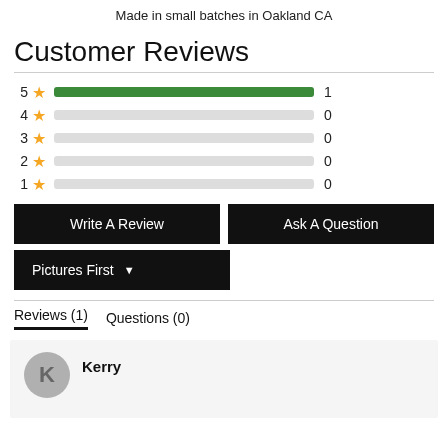Made in small batches in Oakland CA
Customer Reviews
[Figure (bar-chart): Star ratings distribution]
Write A Review   Ask A Question
Pictures First ▼
Reviews (1)   Questions (0)
Kerry